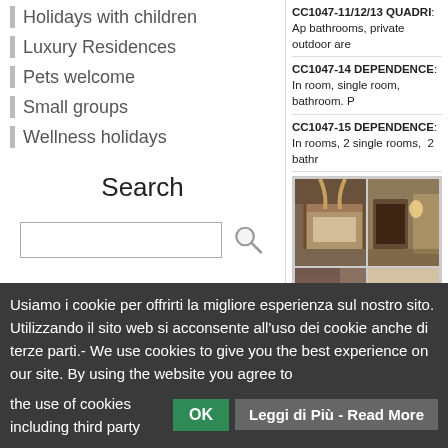Holidays with children
Luxury Residences
Pets welcome
Small groups
Wellness holidays
Search
Info
For booking information please refer to Frequently ask Questions and the Section General Sales Terms and Conditions
CC1047-11/12/13 QUADRI: Ap bathrooms, private outdoor are
CC1047-14 DEPENDENCE: In room, single room, bathroom. P
CC1047-15 DEPENDENCE: In rooms, 2 single rooms, 2 bathr
[Figure (photo): 2x3 grid of room interior photos showing bedrooms and bathrooms of Italian accommodation]
Usiamo i cookie per offrirti la migliore esperienza sul nostro sito. Utilizzando il sito web si acconsente all'uso dei cookie anche di terze parti.- We use cookies to give you the best experience on our site. By using the website you agree to the use of cookies including third party